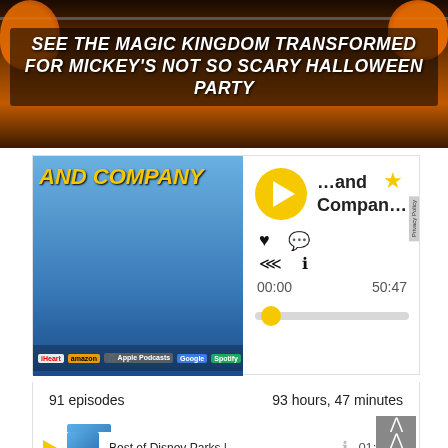[Figure (photo): Banner image of Magic Kingdom with Halloween pumpkins and dark orange background, with overlaid text: SEE THE MAGIC KINGDOM TRANSFORMED FOR MICKEY'S NOT SO SCARY HALLOWEEN PARTY]
SEE THE MAGIC KINGDOM TRANSFORMED FOR MICKEY'S NOT SO SCARY HALLOWEEN PARTY
[Figure (screenshot): Podcast player card showing '...and Company' podcast with album art (two men in front of Cinderella Castle), play button, podcast title '...and Compan...', heart/comment/share/info icons, time display 00:00 and 50:47, and a progress bar with gold dot.]
...and Compan...
00:00
50:47
Privacy Policy
91 episodes	93 hours, 47 minutes
...and Company 11	50:47
Best of Disney Parks |...	01:08:53